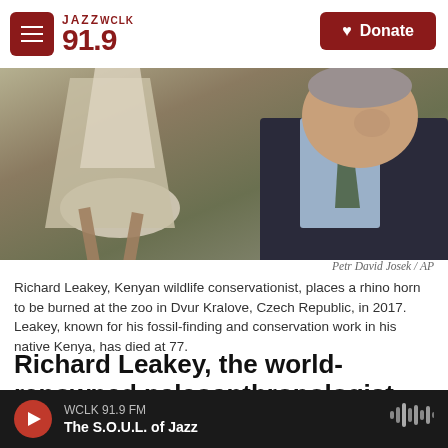JAZZ WCLK 91.9 — Donate
[Figure (photo): Richard Leakey, Kenyan wildlife conservationist, holding a rhino horn at the zoo in Dvur Kralove, Czech Republic, in 2017. An elderly man in a dark suit and tie is shown with large rhino horns.]
Petr David Josek / AP
Richard Leakey, Kenyan wildlife conservationist, places a rhino horn to be burned at the zoo in Dvur Kralove, Czech Republic, in 2017. Leakey, known for his fossil-finding and conservation work in his native Kenya, has died at 77.
Richard Leakey, the world-renowned paleoanthropologist-turned-conservationist, has died at 77
WCLK 91.9 FM — The S.O.U.L. of Jazz